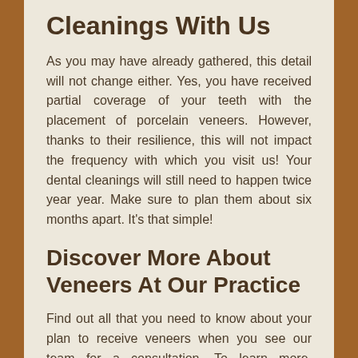Cleanings With Us
As you may have already gathered, this detail will not change either. Yes, you have received partial coverage of your teeth with the placement of porcelain veneers. However, thanks to their resilience, this will not impact the frequency with which you visit us! Your dental cleanings will still need to happen twice year year. Make sure to plan them about six months apart. It's that simple!
Discover More About Veneers At Our Practice
Find out all that you need to know about your plan to receive veneers when you see our team for a consultation. To learn more, schedule an